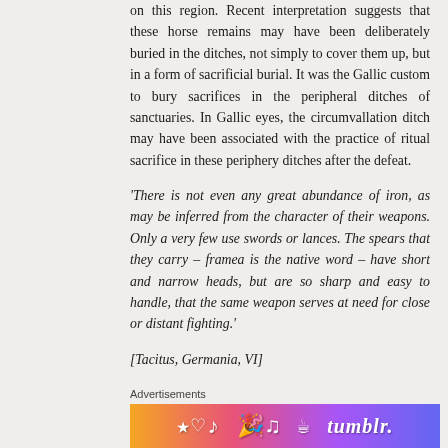on this region. Recent interpretation suggests that these horse remains may have been deliberately buried in the ditches, not simply to cover them up, but in a form of sacrificial burial. It was the Gallic custom to bury sacrifices in the peripheral ditches of sanctuaries. In Gallic eyes, the circumvallation ditch may have been associated with the practice of ritual sacrifice in these periphery ditches after the defeat.
‘There is not even any great abundance of iron, as may be inferred from the character of their weapons. Only a very few use swords or lances. The spears that they carry – framea is the native word – have short and narrow heads, but are so sharp and easy to handle, that the same weapon serves at need for close or distant fighting.’
[Tacitus, Germania, VI]
Advertisements
[Figure (other): Tumblr advertisement banner with colorful gradient background (orange, pink, purple) with decorative icons and the Tumblr logo text]